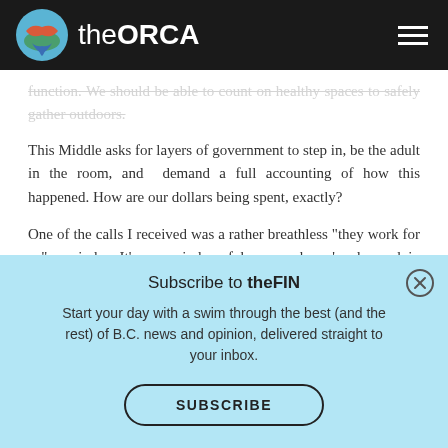theORCA
spaces to safely gather outdoors.
This Middle asks for layers of government to step in, be the adult in the room, and demand a full accounting of how this happened. How are our dollars being spent, exactly?
One of the calls I received was a rather breathless “they work for us” reminder. It’s a reminder of how much we’ve learned in recent years about how
Subscribe to theFIN
Start your day with a swim through the best (and the rest) of B.C. news and opinion, delivered straight to your inbox.
SUBSCRIBE